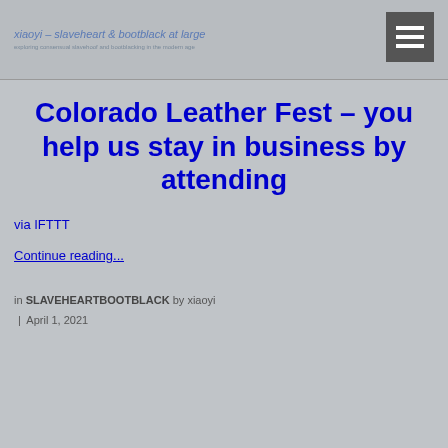xiaoyi – slaveheart & bootblack at large
exploring consensual slavehoof and bootblacking in the modern age
Colorado Leather Fest – you help us stay in business by attending
via IFTTT
Continue reading...
in SLAVEHEARTBOOTBLACK by xiaoyi | April 1, 2021